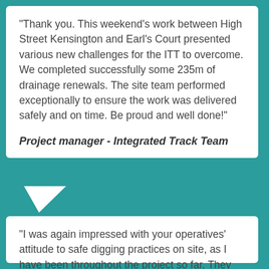“Thank you. This weekend’s work between High Street Kensington and Earl’s Court presented various new challenges for the ITT to overcome. We completed successfully some 235m of drainage renewals. The site team performed exceptionally to ensure the work was delivered safely and on time. Be proud and well done!”
Project manager - Integrated Track Team
“I was again impressed with your operatives’ attitude to safe digging practices on site, as I have been throughout the project so far. They have